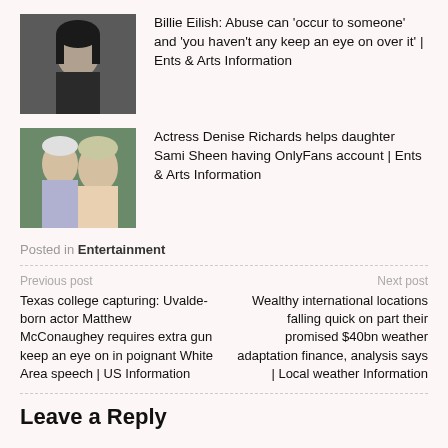[Figure (photo): Photo of Billie Eilish, dark hair, dark outfit]
Billie Eilish: Abuse can 'occur to someone' and 'you haven't any keep an eye on over it' | Ents & Arts Information
[Figure (photo): Photo of two women, likely Denise Richards and Sami Sheen]
Actress Denise Richards helps daughter Sami Sheen having OnlyFans account | Ents & Arts Information
Posted in Entertainment
Previous post
Texas college capturing: Uvalde-born actor Matthew McConaughey requires extra gun keep an eye on in poignant White Area speech | US Information
Next post
Wealthy international locations falling quick on part their promised $40bn weather adaptation finance, analysis says | Local weather Information
Leave a Reply